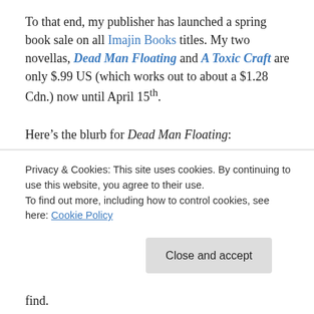To that end, my publisher has launched a spring book sale on all Imajin Books titles. My two novellas, Dead Man Floating and A Toxic Craft are only $.99 US (which works out to about a $1.28 Cdn.) now until April 15th.
Here’s the blurb for Dead Man Floating:
One wrong decision…
Security guard Evan Dunstan didn’t expect to find a body floating in a campus stream. An empty vodka bottle nearby
Privacy & Cookies: This site uses cookies. By continuing to use this website, you agree to their use.
To find out more, including how to control cookies, see here: Cookie Policy
Close and accept
find.